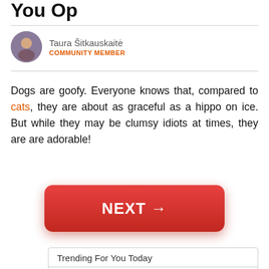You Op
Taura Šitkauskaitė
COMMUNITY MEMBER
Dogs are goofy. Everyone knows that, compared to cats, they are about as graceful as a hippo on ice. But while they may be clumsy idiots at times, they are are adorable!
[Figure (other): Red NEXT → button]
Trending For You Today
NextArticle
Read